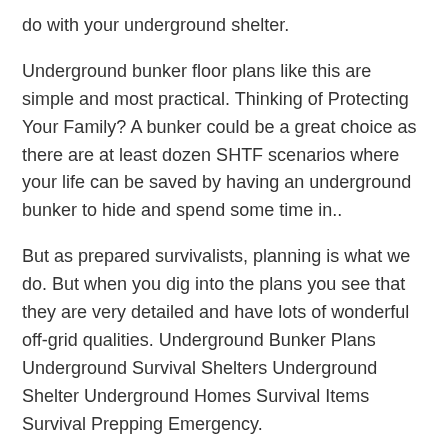do with your underground shelter.
Underground bunker floor plans like this are simple and most practical. Thinking of Protecting Your Family? A bunker could be a great choice as there are at least dozen SHTF scenarios where your life can be saved by having an underground bunker to hide and spend some time in..
But as prepared survivalists, planning is what we do. But when you dig into the plans you see that they are very detailed and have lots of wonderful off-grid qualities. Underground Bunker Plans Underground Survival Shelters Underground Shelter Underground Homes Survival Items Survival Prepping Emergency.
For nearly 25 years, Northwest Shelter Systems...